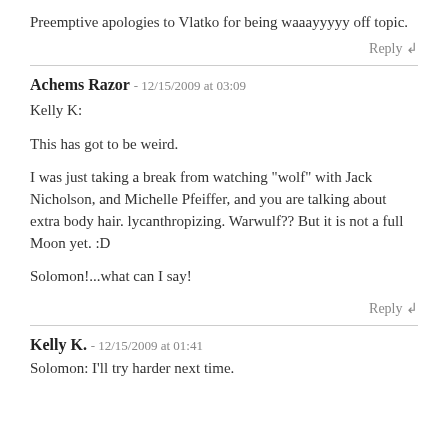Preemptive apologies to Vlatko for being waaayyyyy off topic.
Reply ↲
Achems Razor - 12/15/2009 at 03:09
Kelly K:
This has got to be weird.
I was just taking a break from watching "wolf" with Jack Nicholson, and Michelle Pfeiffer, and you are talking about extra body hair. lycanthropizing. Warwulf?? But it is not a full Moon yet. :D
Solomon!...what can I say!
Reply ↲
Kelly K. - 12/15/2009 at 01:41
Solomon: I'll try harder next time.